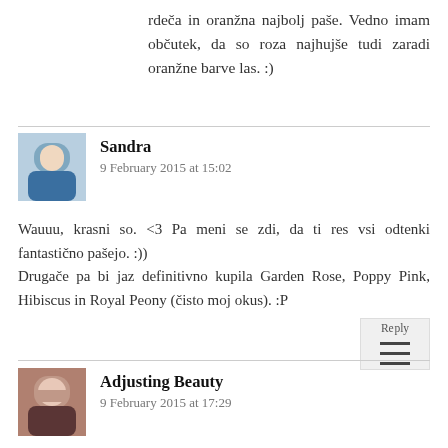rdeča in oranžna najbolj paše. Vedno imam občutek, da so roza najhujše tudi zaradi oranžne barve las. :)
Sandra
9 February 2015 at 15:02
Wauuu, krasni so. <3 Pa meni se zdi, da ti res vsi odtenki fantastično pašejo. :))
Drugače pa bi jaz definitivno kupila Garden Rose, Poppy Pink, Hibiscus in Royal Peony (čisto moj okus). :P
Adjusting Beauty
9 February 2015 at 17:29
Hvala:)) Dobra izbira:) Mene je tako